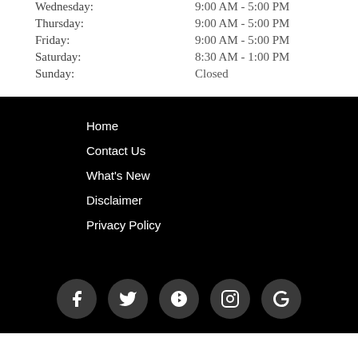Wednesday: 9:00 AM - 5:00 PM
Thursday: 9:00 AM - 5:00 PM
Friday: 9:00 AM - 5:00 PM
Saturday: 8:30 AM - 1:00 PM
Sunday: Closed
Home
Contact Us
What's New
Disclaimer
Privacy Policy
[Figure (infographic): Row of 5 social media icon circles: Facebook, Twitter, Yelp, Instagram, Google]